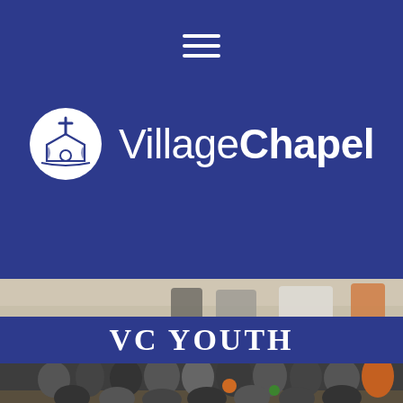[Figure (logo): Village Chapel logo with church icon in white circle and text 'VillageChapel' in white on dark blue background, with hamburger menu icon at top]
[Figure (photo): Group photo of youth group members in a gymnasium, people smiling and posing together]
VC YOUTH